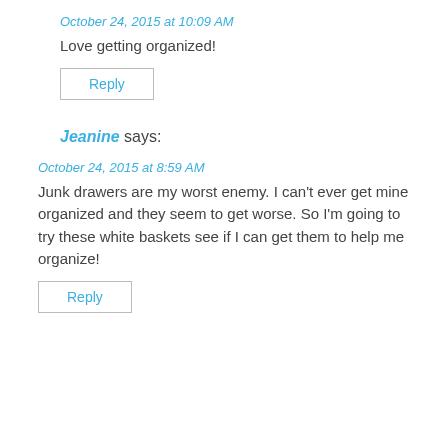October 24, 2015 at 10:09 AM
Love getting organized!
Reply
Jeanine says:
October 24, 2015 at 8:59 AM
Junk drawers are my worst enemy. I can't ever get mine organized and they seem to get worse. So I'm going to try these white baskets see if I can get them to help me organize!
Reply